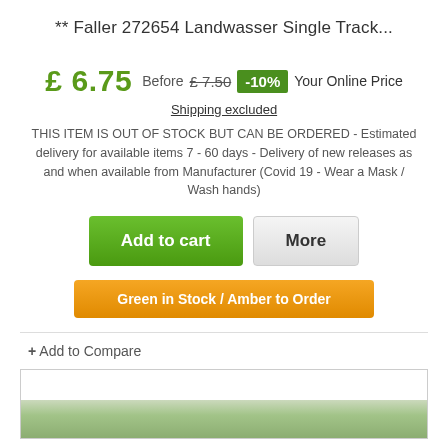** Faller 272654 Landwasser Single Track...
£ 6.75 Before £ 7.50 -10% Your Online Price
Shipping excluded
THIS ITEM IS OUT OF STOCK BUT CAN BE ORDERED - Estimated delivery for available items 7 - 60 days - Delivery of new releases as and when available from Manufacturer (Covid 19 - Wear a Mask / Wash hands)
Add to cart
More
Green in Stock / Amber to Order
+ Add to Compare
[Figure (photo): Product image placeholder showing green/nature background]